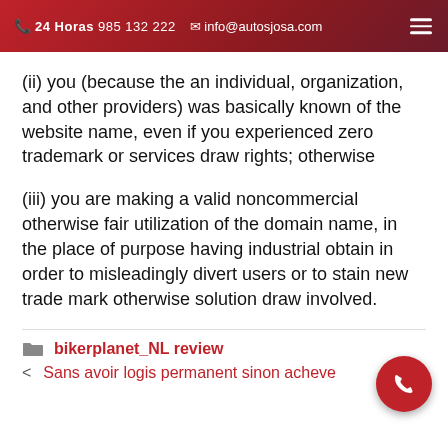24 Horas 985 132 222  info@autosjosa.com
(ii) you (because the an individual, organization, and other providers) was basically known of the website name, even if you experienced zero trademark or services draw rights; otherwise
(iii) you are making a valid noncommercial otherwise fair utilization of the domain name, in the place of purpose having industrial obtain in order to misleadingly divert users or to stain new trade mark otherwise solution draw involved.
bikerplanet_NL review
< Sans avoir logis permanent sinon acheve